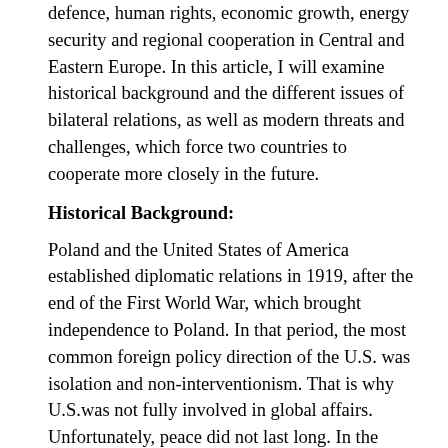defence, human rights, economic growth, energy security and regional cooperation in Central and Eastern Europe. In this article, I will examine historical background and the different issues of bilateral relations, as well as modern threats and challenges, which force two countries to cooperate more closely in the future.
Historical Background:
Poland and the United States of America established diplomatic relations in 1919, after the end of the First World War, which brought independence to Poland. In that period, the most common foreign policy direction of the U.S. was isolation and non-interventionism. That is why U.S.was not fully involved in global affairs. Unfortunately, peace did not last long. In the 1930s, two global powers emerged in Europe: Nazi Germany and the Soviet Union. Both of them were trying to conquer Poland once again. On the 23rd of August